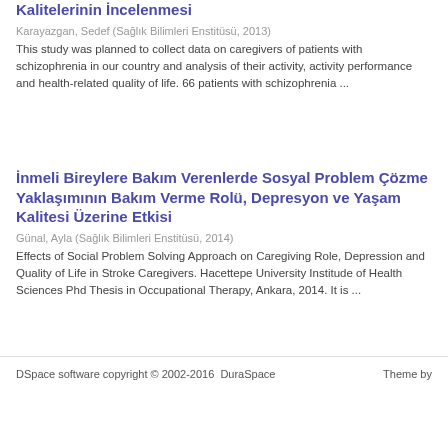Kalitelerinin İncelenmesi
Karayazgan, Sedef (Sağlık Bilimleri Enstitüsü, 2013)
This study was planned to collect data on caregivers of patients with schizophrenia in our country and analysis of their activity, activity performance and health-related quality of life. 66 patients with schizophrenia ...
İnmeli Bireylere Bakım Verenlerde Sosyal Problem Çözme Yaklaşımının Bakım Verme Rolü, Depresyon ve Yaşam Kalitesi Üzerine Etkisi
Günal, Ayla (Sağlık Bilimleri Enstitüsü, 2014)
Effects of Social Problem Solving Approach on Caregiving Role, Depression and Quality of Life in Stroke Caregivers. Hacettepe University Institude of Health Sciences Phd Thesis in Occupational Therapy, Ankara, 2014. It is ...
DSpace software copyright © 2002-2016  DuraSpace    Theme by